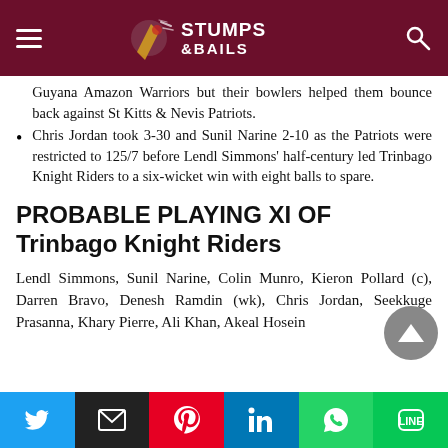Stumps & Bails
Guyana Amazon Warriors but their bowlers helped them bounce back against St Kitts & Nevis Patriots.
Chris Jordan took 3-30 and Sunil Narine 2-10 as the Patriots were restricted to 125/7 before Lendl Simmons' half-century led Trinbago Knight Riders to a six-wicket win with eight balls to spare.
PROBABLE PLAYING XI OF Trinbago Knight Riders
Lendl Simmons, Sunil Narine, Colin Munro, Kieron Pollard (c), Darren Bravo, Denesh Ramdin (wk), Chris Jordan, Seekkuge Prasanna, Khary Pierre, Ali Khan, Akeal Hosein
Social share bar: Twitter, Email, Pinterest, LinkedIn, WhatsApp, Line